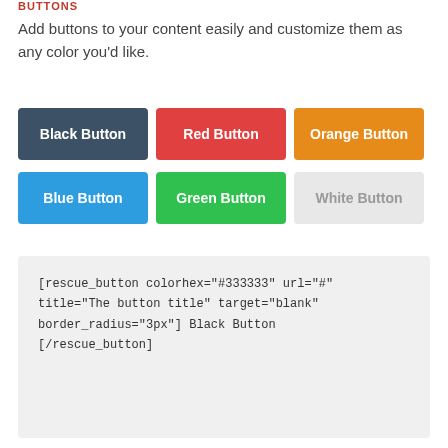Buttons
Add buttons to your content easily and customize them as any color you'd like.
[Figure (illustration): Six colored buttons displayed in two rows: Black Button (dark blue-gray), Red Button (red), Orange Button (orange) in row 1; Blue Button (blue), Green Button (green), White Button (light gray) in row 2.]
[rescue_button colorhex="#333333" url="#" title="The button title" target="blank" border_radius="3px"] Black Button [/rescue_button]